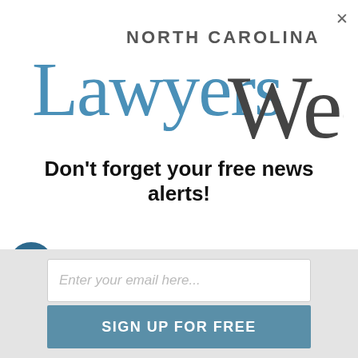[Figure (logo): North Carolina Lawyers Weekly logo — 'NORTH CAROLINA' in small caps above 'Lawyers' in blue serif and 'Weekly' in gray serif]
Don't forget your free news alerts!
Get the latest legal news, daily
[Figure (screenshot): Advertisement banner: Cheryl's Cookie Delivery — gourmet brownies, cakes, cookies and cookie gift baskets — www.cheryls.com]
Enter your email here...
SIGN UP FOR FREE